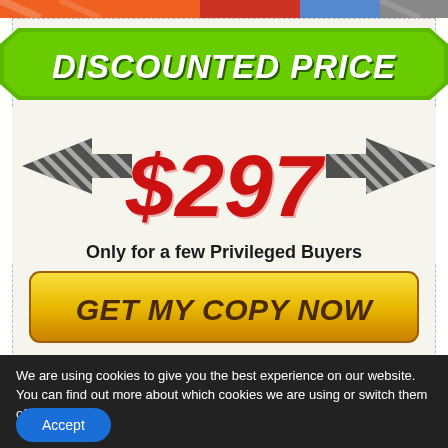[Figure (illustration): Top image strip with orange, red, blue gradient colors suggesting a product/promotional image]
DISCOUNTED PRICE
[Figure (illustration): Large red bold italic $297 price text flanked by two diagonal striped arrows pointing inward]
Only for a few Privileged Buyers
[Figure (illustration): Yellow gradient call-to-action button with text GET MY COPY NOW]
We are using cookies to give you the best experience on our website.
You can find out more about which cookies we are using or switch them off in settings.
Accept